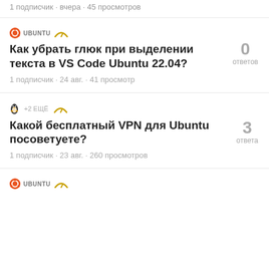1 подписчик · вчера · 45 просмотров
UBUNTU
Как убрать глюк при выделении текста в VS Code Ubuntu 22.04?
0 ответов
1 подписчик · 24 авг. · 41 просмотр
+2 ЕЩЁ
Какой бесплатный VPN для Ubuntu посоветуете?
3 ответа
1 подписчик · 23 авг. · 260 просмотров
UBUNTU